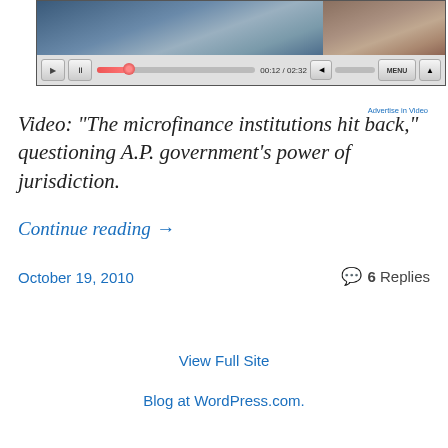[Figure (screenshot): Video player controls showing a media player with play/pause buttons, progress bar at about 20%, time display 00:12 / 02:32, volume control, MENU button, and Advertise in Video link]
Video: “The microfinance institutions hit back,” questioning A.P. government’s power of jurisdiction.
Continue reading →
October 19, 2010
6 Replies
View Full Site
Blog at WordPress.com.